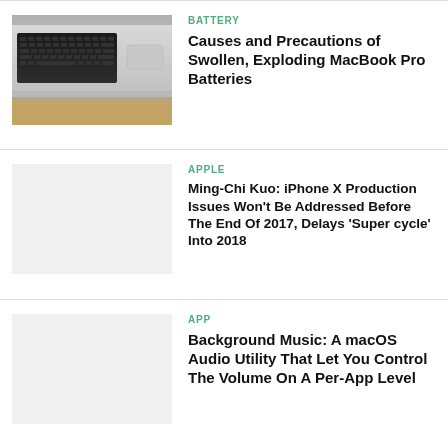[Figure (photo): MacBook Pro keyboard and trackpad from side angle on wooden desk]
BATTERY
Causes and Precautions of Swollen, Exploding MacBook Pro Batteries
[Figure (photo): Light grey placeholder image for article 2]
APPLE
Ming-Chi Kuo: iPhone X Production Issues Won't Be Addressed Before The End Of 2017, Delays 'Super cycle' Into 2018
[Figure (photo): Light grey placeholder image for article 3]
APP
Background Music: A macOS Audio Utility That Let You Control The Volume On A Per-App Level